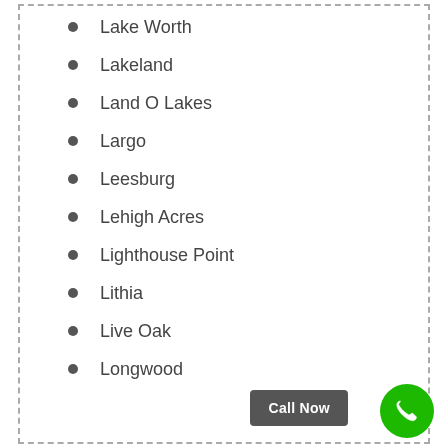Lake Worth
Lakeland
Land O Lakes
Largo
Leesburg
Lehigh Acres
Lighthouse Point
Lithia
Live Oak
Longwood